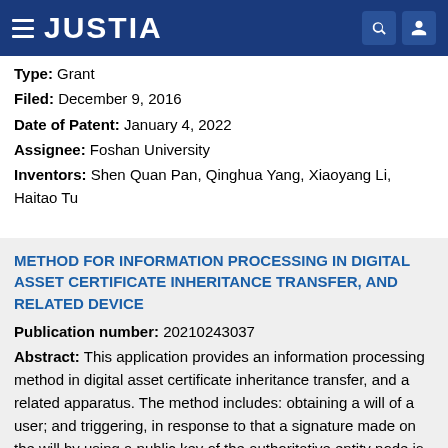JUSTIA
Type: Grant
Filed: December 9, 2016
Date of Patent: January 4, 2022
Assignee: Foshan University
Inventors: Shen Quan Pan, Qinghua Yang, Xiaoyang Li, Haitao Tu
METHOD FOR INFORMATION PROCESSING IN DIGITAL ASSET CERTIFICATE INHERITANCE TRANSFER, AND RELATED DEVICE
Publication number: 20210243037
Abstract: This application provides an information processing method in digital asset certificate inheritance transfer, and a related apparatus. The method includes: obtaining a will of a user; and triggering, in response to that a signature made on the will by using a public key of the authoritative entity node is successfully verified by